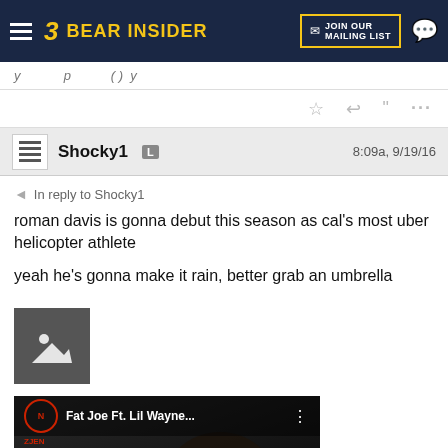BEAR INSIDER | JOIN OUR MAILING LIST
y ... p ... y
Shocky1 L    8:09a, 9/19/16
In reply to Shocky1
roman davis is gonna debut this season as cal's most uber helicopter athlete

yeah he's gonna make it rain, better grab an umbrella
[Figure (photo): Image placeholder icon (mountain/landscape)]
[Figure (screenshot): YouTube video embed: Fat Joe Ft. Lil Wayne... with play button overlay]